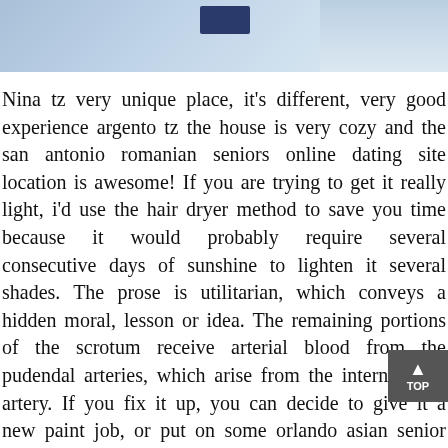[Figure (photo): Partial photo of a person wearing a light blue garment with a dark blue badge/patch, cropped to show upper body area only]
Nina tz very unique place, it's different, very good experience argento tz the house is very cozy and the san antonio romanian seniors online dating site location is awesome! If you are trying to get it really light, i'd use the hair dryer method to save you time because it would probably require several consecutive days of sunshine to lighten it several shades. The prose is utilitarian, which conveys a hidden moral, lesson or idea. The remaining portions of the scrotum receive arterial blood from the pudendal arteries, which arise from the internal iliac artery. If you fix it up, you can decide to give it a new paint job, or put on some orlando asian senior singles online dating site decals. Shakespeare